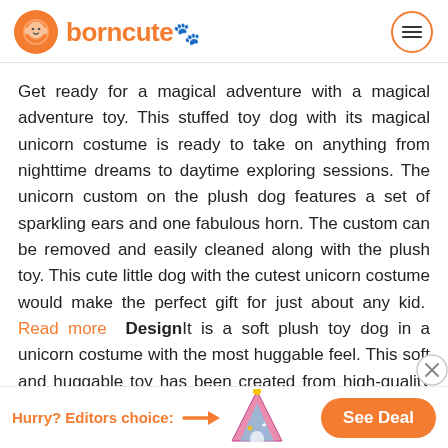borncute
Get ready for a magical adventure with a magical adventure toy. This stuffed toy dog with its magical unicorn costume is ready to take on anything from nighttime dreams to daytime exploring sessions. The unicorn custom on the plush dog features a set of sparkling ears and one fabulous horn. The custom can be removed and easily cleaned along with the plush toy. This cute little dog with the cutest unicorn costume would make the perfect gift for just about any kid. Read more DesignIt is a soft plush toy dog in a unicorn costume with the most huggable feel. This soft and huggable toy has been created from high-quality materials that meet the highest standards of the industry. It features an easy to wash surface and removal outfit. It is easy to
Hurry? Editors choice: See Deal